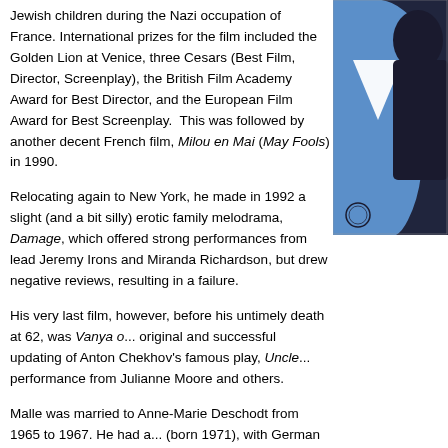Jewish children during the Nazi occupation of France. International prizes for the film included the Golden Lion at Venice, three Cesars (Best Film, Director, Screenplay), the British Film Academy Award for Best Director, and the European Film Award for Best Screenplay.  This was followed by another decent French film, Milou en Mai (May Fools) in 1990.
[Figure (illustration): Partial view of what appears to be a blue illustrated movie poster with a dark silhouetted figure and white geometric shape.]
Relocating again to New York, he made in 1992 a slight (and a bit silly) erotic family melodrama, Damage, which offered strong performances from lead Jeremy Irons and Miranda Richardson, but drew negative reviews, resulting in a failure.
His very last film, however, before his untimely death at 62, was Vanya on... original and successful updating of Anton Chekhov's famous play, Uncle... performance from Julianne Moore and others.
Malle was married to Anne-Marie Deschodt from 1965 to 1967. He had a... (born 1971), with German actress Gila von Weitershausen and a daught... Canadian-born French actress Alexandra Stewart. He married actress C... the couple had one daughter, Chloé Malle, in 1985. He died from lymphe...